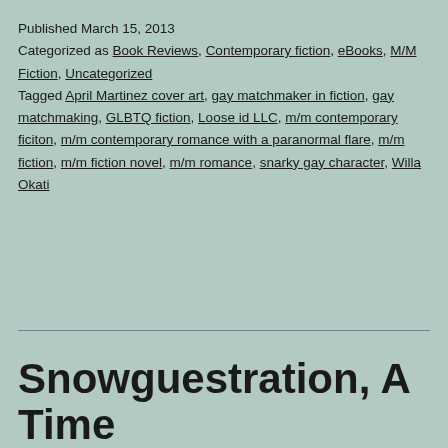Published March 15, 2013
Categorized as Book Reviews, Contemporary fiction, eBooks, M/M Fiction, Uncategorized
Tagged April Martinez cover art, gay matchmaker in fiction, gay matchmaking, GLBTQ fiction, Loose id LLC, m/m contemporary ficiton, m/m contemporary romance with a paranormal flare, m/m fiction, m/m fiction novel, m/m romance, snarky gay character, Willa Okati
Snowguestration, A Time